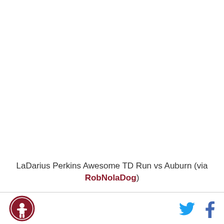[Figure (other): Large white/blank area representing embedded video or image content area at the top of the page]
LaDarius Perkins Awesome TD Run vs Auburn (via RobNolaDog)
[Figure (logo): Circular logo with dark red border featuring a football player silhouette, site logo in bottom-left footer]
[Figure (other): Twitter bird icon (blue) and Facebook 'f' icon (blue) in the bottom-right footer area for social sharing]